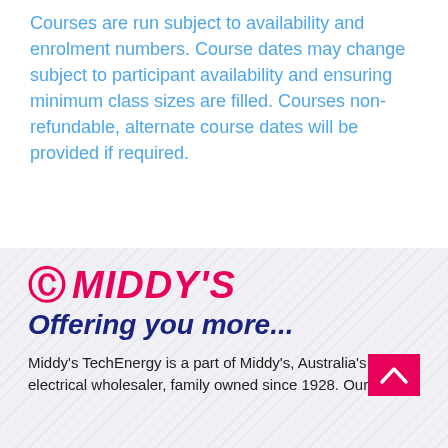Courses are run subject to availability and enrolment numbers. Course dates may change subject to participant availability and ensuring minimum class sizes are filled. Courses non-refundable, alternate course dates will be provided if required.
[Figure (logo): Middy's logo: omega symbol and MIDDY'S text in magenta/pink, bold italic]
Offering you more...
Middy's TechEnergy is a part of Middy's, Australia's largest electrical wholesaler, family owned since 1928. Our